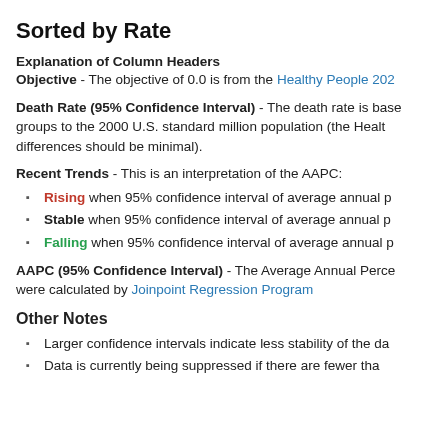Sorted by Rate
Explanation of Column Headers
Objective - The objective of 0.0 is from the Healthy People 202…
Death Rate (95% Confidence Interval) - The death rate is base… groups to the 2000 U.S. standard million population (the Healt… differences should be minimal).
Recent Trends - This is an interpretation of the AAPC:
Rising when 95% confidence interval of average annual p…
Stable when 95% confidence interval of average annual p…
Falling when 95% confidence interval of average annual p…
AAPC (95% Confidence Interval) - The Average Annual Perce… were calculated by Joinpoint Regression Program
Other Notes
Larger confidence intervals indicate less stability of the da…
Data is currently being suppressed if there are fewer tha…